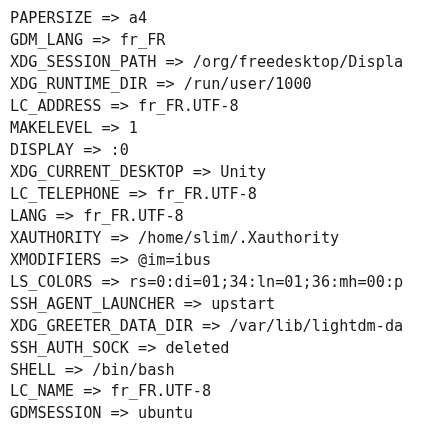PAPERSIZE => a4
GDM_LANG => fr_FR
XDG_SESSION_PATH => /org/freedesktop/Displa
XDG_RUNTIME_DIR => /run/user/1000
LC_ADDRESS => fr_FR.UTF-8
MAKELEVEL => 1
DISPLAY => :0
XDG_CURRENT_DESKTOP => Unity
LC_TELEPHONE => fr_FR.UTF-8
LANG => fr_FR.UTF-8
XAUTHORITY => /home/slim/.Xauthority
XMODIFIERS => @im=ibus
LS_COLORS => rs=0:di=01;34:ln=01;36:mh=00:p
SSH_AGENT_LAUNCHER => upstart
XDG_GREETER_DATA_DIR => /var/lib/lightdm-da
SSH_AUTH_SOCK => deleted
SHELL => /bin/bash
LC_NAME => fr_FR.UTF-8
GDMSESSION => ubuntu